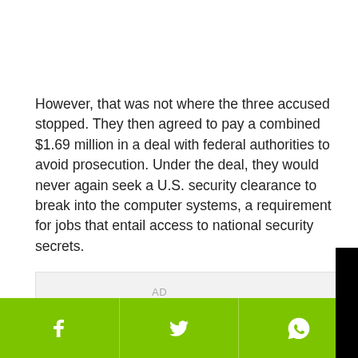However, that was not where the three accused stopped. They then agreed to pay a combined $1.69 million in a deal with federal authorities to avoid prosecution. Under the deal, they would never again seek a U.S. security clearance to break into the computer systems, a requirement for jobs that entail access to national security secrets.
[Figure (screenshot): Video player overlay with black background, red play button arrow, and white loading circle spinner]
[Figure (other): Social share bar with green background showing Facebook, Twitter, and WhatsApp icons]